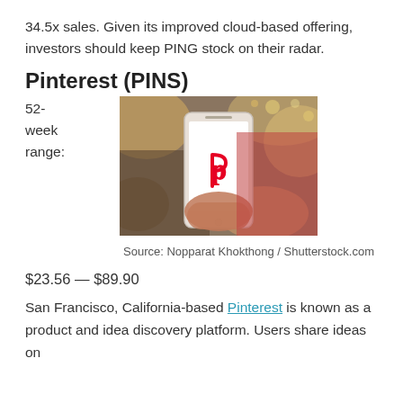34.5x sales. Given its improved cloud-based offering, investors should keep PING stock on their radar.
Pinterest (PINS)
52-week range:
[Figure (photo): Person holding a smartphone displaying the Pinterest logo in a bokeh-blurred background setting. Photo credit: Nopparat Khokthong / Shutterstock.com]
Source: Nopparat Khokthong / Shutterstock.com
$23.56 — $89.90
San Francisco, California-based Pinterest is known as a product and idea discovery platform. Users share ideas on